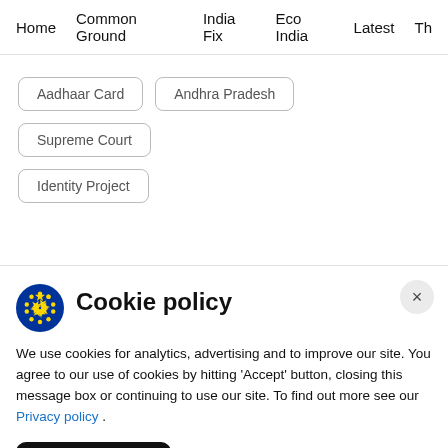Home   Common Ground   India Fix   Eco India   Latest   Th
Aadhaar Card
Andhra Pradesh
Supreme Court
Identity Project
Cookie policy
We use cookies for analytics, advertising and to improve our site. You agree to our use of cookies by hitting 'Accept' button, closing this message box or continuing to use our site. To find out more see our Privacy policy .
Accept